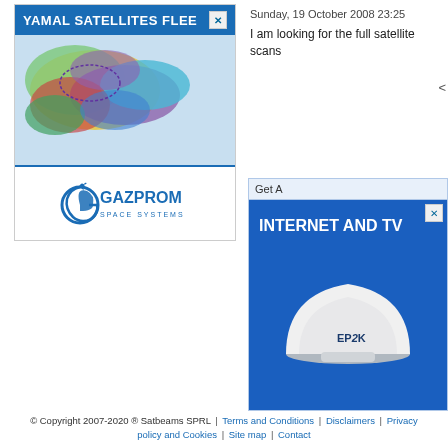[Figure (screenshot): Yamal Satellites Fleet advertisement banner with satellite coverage map and Gazprom Space Systems logo]
Sunday, 19 October 2008 23:25
I am looking for the full satellite scans
<
[Figure (screenshot): INTERNET AND TV advertisement with EPAK satellite dish on blue background]
Get A
© Copyright 2007-2020 ® Satbeams SPRL | Terms and Conditions | Disclaimers | Privacy policy and Cookies | Site map | Contact